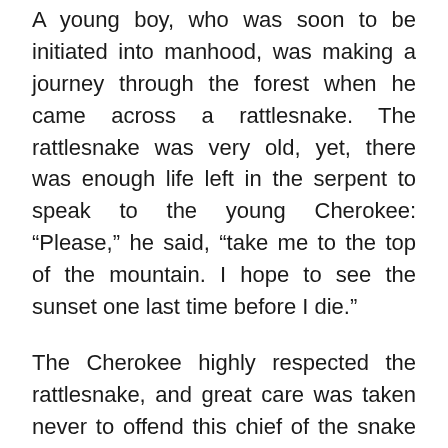A young boy, who was soon to be initiated into manhood, was making a journey through the forest when he came across a rattlesnake. The rattlesnake was very old, yet, there was enough life left in the serpent to speak to the young Cherokee: “Please,” he said, “take me to the top of the mountain. I hope to see the sunset one last time before I die.”
The Cherokee highly respected the rattlesnake, and great care was taken never to offend this chief of the snake tribe. So the young brave responded cautiously: “Mr.